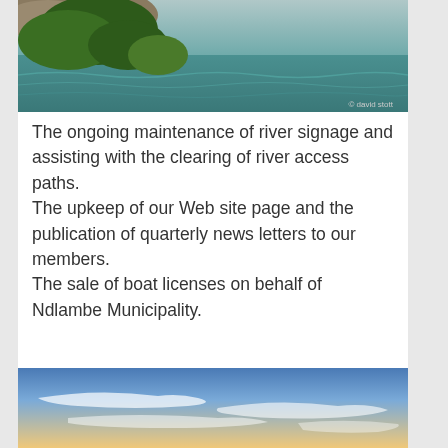[Figure (photo): Scenic river view with trees and turquoise water, copyright david stott watermark in bottom right]
The ongoing maintenance of river signage and assisting with the clearing of river access paths.
The upkeep of our Web site page and the publication of quarterly news letters to our members.
The sale of boat licenses on behalf of Ndlambe Municipality.
[Figure (photo): Blue sky with wispy white clouds, sunset or daytime sky panorama]